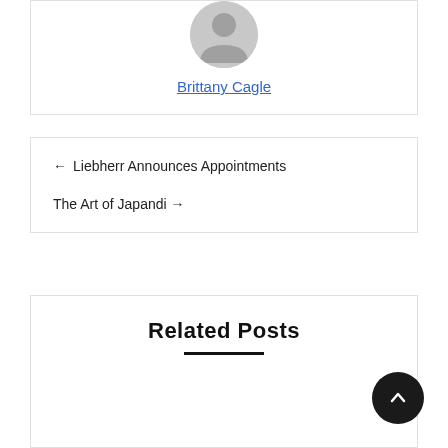[Figure (photo): Circular avatar placeholder icon (grey silhouette of a person)]
Brittany Cagle
← Liebherr Announces Appointments
The Art of Japandi →
Related Posts